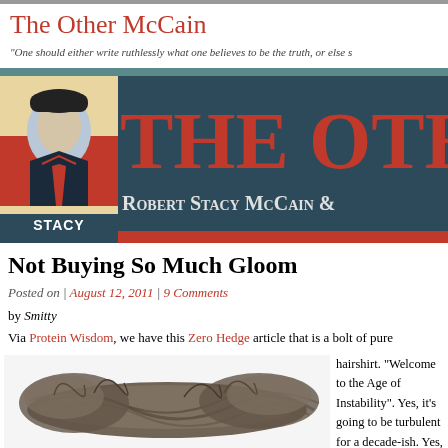The Other McCain
"One should either write ruthlessly what one believes to be the truth, or else s
[Figure (screenshot): The Other McCain blog banner with poster-style image of Stacy McCain labeled 'STACY', large red text 'THE OTHER' and subtitle 'Robert Stacy McCain &']
Not Buying So Much Gloom
Posted on | August 12, 2011 | 9 Comments
by Smitty
Via Protein Wisdom, we have this Zero Hedge article that is a bolt of pure
[Figure (photo): A hairshirt or rough woven fiber/rope material on white background]
hairshirt. "Welcome to the Age of Instability". Yes, it's going to be turbulent for a decade-ish. Yes, the centralized world order is dead on its feet. Yes, some